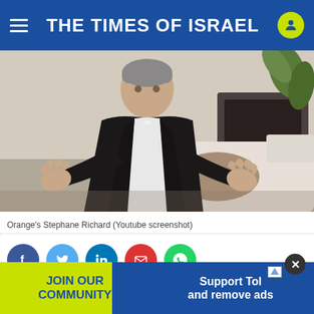THE TIMES OF ISRAEL
[Figure (photo): Man in dark suit with white shirt, seated, speaking with hands extended. Interview/video screenshot setting with couch, table and plant in background.]
Orange's Stephane Richard (Youtube screenshot)
[Figure (infographic): Social media sharing buttons: Facebook (blue), Twitter (light blue), LinkedIn (dark blue), Email (red), WhatsApp (green)]
The ch...hone
JOIN OUR COMMUNITY
Support ToI and remove ads